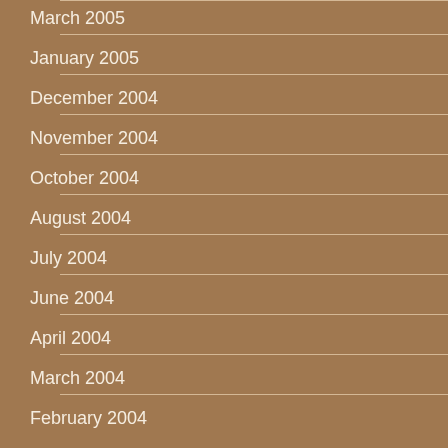March 2005
January 2005
December 2004
November 2004
October 2004
August 2004
July 2004
June 2004
April 2004
March 2004
February 2004